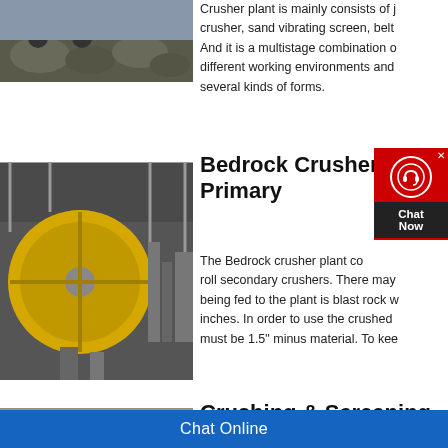[Figure (photo): Aerial/ground view of a crusher plant with heavy machinery and rocks]
Crusher plant is mainly consists of j crusher, sand vibrating screen, belt And it is a multistage combination o different working environments and several kinds of forms.
[Figure (photo): Industrial crusher machinery with large yellow drum/mill and structural framework]
Bedrock Crusher Pl Primary
The Bedrock crusher plant co roll secondary crushers. There may being fed to the plant is blast rock w inches. In order to use the crushed must be 1.5" minus material. To kee
[Figure (photo): Aerial view of a crushing and screening plant in a rock quarry]
Crushing & Screening P
Jul 18, 2018 Methodology in S...
Chat Online